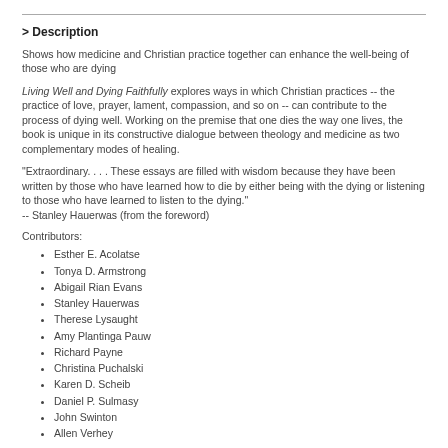> Description
Shows how medicine and Christian practice together can enhance the well-being of those who are dying
Living Well and Dying Faithfully explores ways in which Christian practices -- the practice of love, prayer, lament, compassion, and so on -- can contribute to the process of dying well. Working on the premise that one dies the way one lives, the book is unique in its constructive dialogue between theology and medicine as two complementary modes of healing.
"Extraordinary. . . . These essays are filled with wisdom because they have been written by those who have learned how to die by either being with the dying or listening to those who have learned to listen to the dying."
-- Stanley Hauerwas (from the foreword)
Contributors:
Esther E. Acolatse
Tonya D. Armstrong
Abigail Rian Evans
Stanley Hauerwas
Therese Lysaught
Amy Plantinga Pauw
Richard Payne
Christina Puchalski
Karen D. Scheib
Daniel P. Sulmasy
John Swinton
Allen Verhey